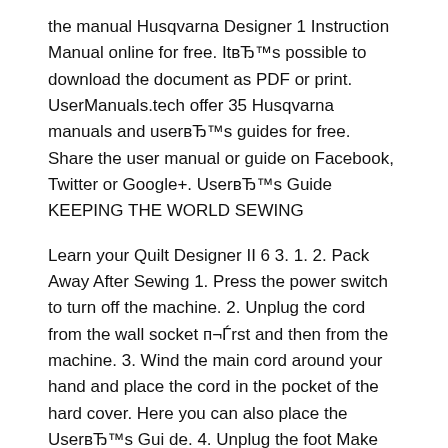the manual Husqvarna Designer 1 Instruction Manual online for free. It's possible to download the document as PDF or print. UserManuals.tech offer 35 Husqvarna manuals and user's guides for free. Share the user manual or guide on Facebook, Twitter or Google+. User's Guide KEEPING THE WORLD SEWING
Learn your Quilt Designer II 6 3. 1. 2. Pack Away After Sewing 1. Press the power switch to turn off the machine. 2. Unplug the cord from the wall socket first and then from the machine. 3. Wind the main cord around your hand and place the cord in the pocket of the hard cover. Here you can also place the User's Gui de. 4. Unplug the foot Make sure that the presser foot and the needle are in the up position. Use only the original Husqvarna Viking green bobbins with your Designer I. Only use a metal presser foot when bob bin winding from the needle. Page 11: Bobbin Winding Learn your